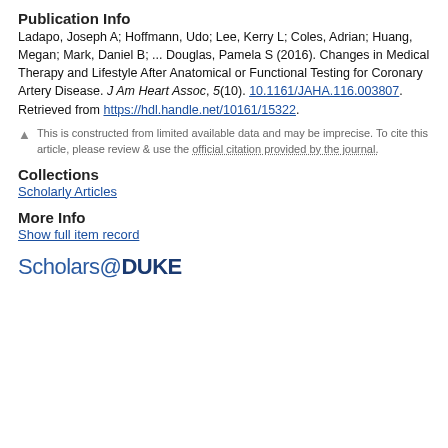Publication Info
Ladapo, Joseph A; Hoffmann, Udo; Lee, Kerry L; Coles, Adrian; Huang, Megan; Mark, Daniel B; ... Douglas, Pamela S (2016). Changes in Medical Therapy and Lifestyle After Anatomical or Functional Testing for Coronary Artery Disease. J Am Heart Assoc, 5(10). 10.1161/JAHA.116.003807. Retrieved from https://hdl.handle.net/10161/15322.
This is constructed from limited available data and may be imprecise. To cite this article, please review & use the official citation provided by the journal.
Collections
Scholarly Articles
More Info
Show full item record
Scholars@DUKE